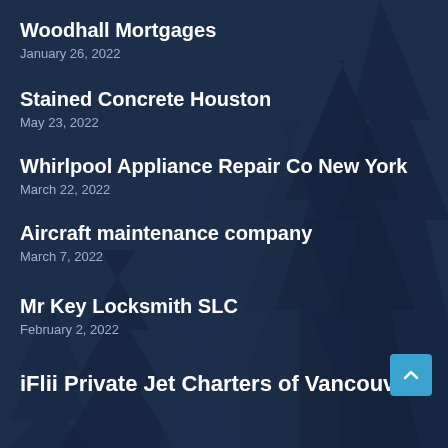Woodhall Mortgages
January 26, 2022
Stained Concrete Houston
May 23, 2022
Whirlpool Appliance Repair Co New York
March 22, 2022
Aircraft maintenance company
March 7, 2022
Mr Key Locksmith SLC
February 2, 2022
iFlii Private Jet Charters of Vancouver